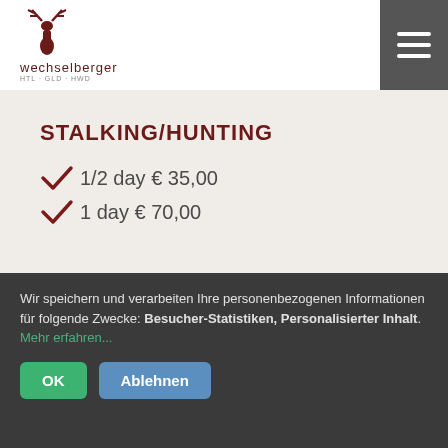wechselberger
STALKING/HUNTING
1/2 day € 35,00
1 day € 70,00
HUNTING CARD
For 14 days € 31,00
Wir speichern und verarbeiten Ihre personenbezogenen Informationen für folgende Zwecke: Besucher-Statistiken, Personalisierter Inhalt. Mehr erfahren...
OK  Ablehnen